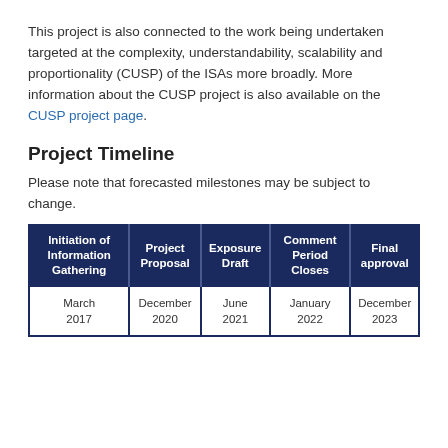This project is also connected to the work being undertaken targeted at the complexity, understandability, scalability and proportionality (CUSP) of the ISAs more broadly. More information about the CUSP project is also available on the CUSP project page.
Project Timeline
Please note that forecasted milestones may be subject to change.
| Initiation of Information Gathering | Project Proposal | Exposure Draft | Comment Period Closes | Final approval |
| --- | --- | --- | --- | --- |
| March 2017 | December 2020 | June 2021 | January 2022 | December 2023 |